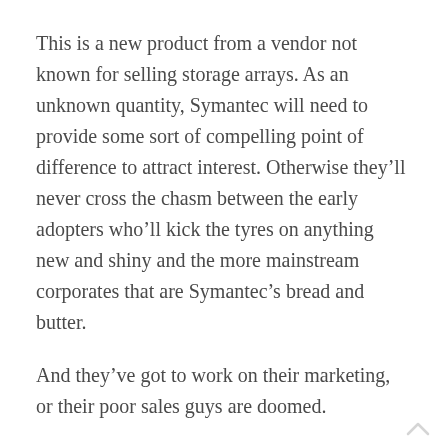This is a new product from a vendor not known for selling storage arrays. As an unknown quantity, Symantec will need to provide some sort of compelling point of difference to attract interest. Otherwise they’ll never cross the chasm between the early adopters who’ll kick the tyres on anything new and shiny and the more mainstream corporates that are Symantec’s bread and butter.
And they’ve got to work on their marketing, or their poor sales guys are doomed.
I’ll be watching this one develop with considerable interest.
Merch disclosure: